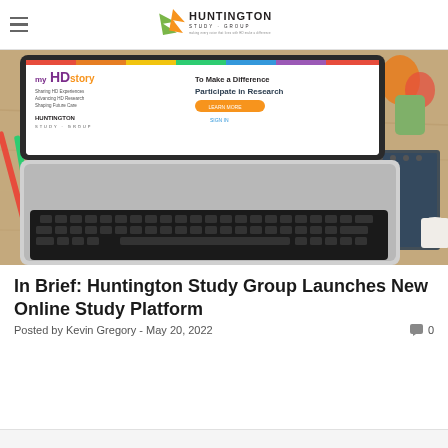Huntington Study Group
[Figure (photo): Laptop on a wooden desk displaying the myHD Story / Huntington Study Group website with 'Participate in Research' content. Colorful pencils and a notebook visible nearby.]
In Brief: Huntington Study Group Launches New Online Study Platform
Posted by Kevin Gregory - May 20, 2022
0